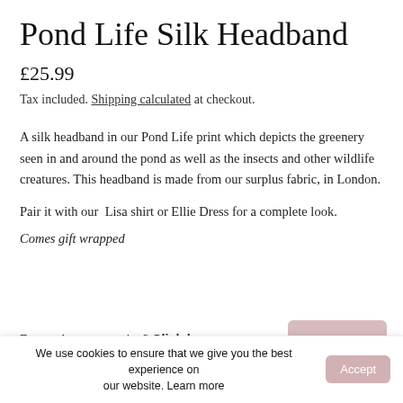Pond Life Silk Headband
£25.99
Tax included. Shipping calculated at checkout.
A silk headband in our Pond Life print which depicts the greenery seen in and around the pond as well as the insects and other wildlife creatures. This headband is made from our surplus fabric, in London.
Pair it with our  Lisa shirt or Ellie Dress for a complete look.
Comes gift wrapped
Do you have a question? Click here
We use cookies to ensure that we give you the best experience on our website. Learn more